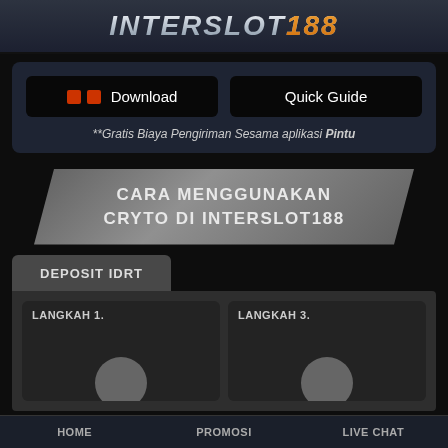INTERSLOT188
Download | Quick Guide
**Gratis Biaya Pengiriman Sesama aplikasi Pintu
CARA MENGGUNAKAN CRYTO DI INTERSLOT188
DEPOSIT IDRT
LANGKAH 1.
LANGKAH 3.
HOME    PROMOSI    LIVE CHAT